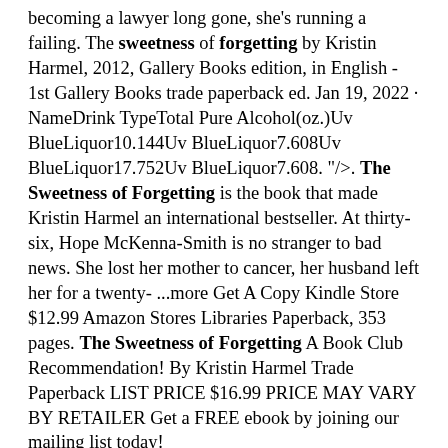becoming a lawyer long gone, she's running a failing. The sweetness of forgetting by Kristin Harmel, 2012, Gallery Books edition, in English - 1st Gallery Books trade paperback ed. Jan 19, 2022 · NameDrink TypeTotal Pure Alcohol(oz.)Uv BlueLiquor10.144Uv BlueLiquor7.608Uv BlueLiquor17.752Uv BlueLiquor7.608. "/>. The Sweetness of Forgetting is the book that made Kristin Harmel an international bestseller. At thirty-six, Hope McKenna-Smith is no stranger to bad news. She lost her mother to cancer, her husband left her for a twenty- ...more Get A Copy Kindle Store $12.99 Amazon Stores Libraries Paperback, 353 pages. The Sweetness of Forgetting A Book Club Recommendation! By Kristin Harmel Trade Paperback LIST PRICE $16.99 PRICE MAY VARY BY RETAILER Get a FREE ebook by joining our mailing list today!